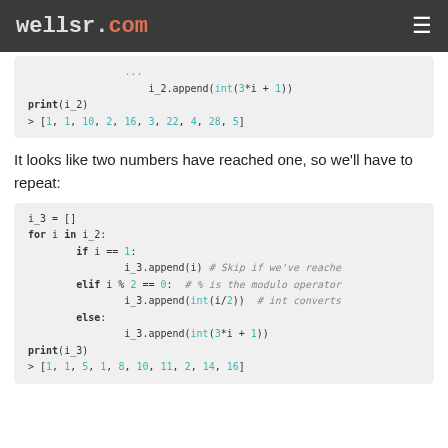wellsr.com
i_2.append(int(3*i + 1))
print(i_2)
> [1, 1, 10, 2, 16, 3, 22, 4, 28, 5]
It looks like two numbers have reached one, so we'll have to repeat:
i_3 = []
for i in i_2:
    if i == 1:
        i_3.append(i) # Skip if we've reache
    elif i % 2 == 0:  # % is the modulo operator
        i_3.append(int(i/2))  # int converts
    else:
        i_3.append(int(3*i + 1))
print(i_3)
> [1, 1, 5, 1, 8, 10, 11, 2, 14, 16]